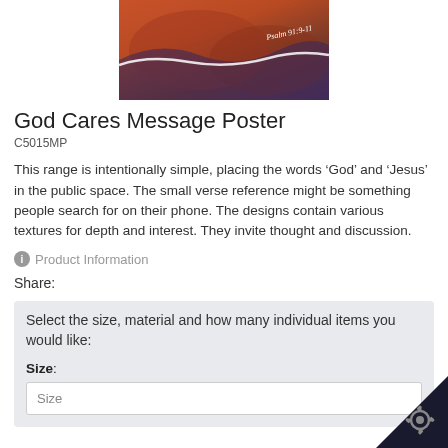[Figure (photo): Product image of God Cares Message Poster with orange/terracotta background, abstract textures, and white wave. Text reading 'Psalm 91:9-11' in white italic.]
God Cares Message Poster
C5015MP
This range is intentionally simple, placing the words ‘God’ and ‘Jesus’ in the public space. The small verse reference might be something people search for on their phone. The designs contain various textures for depth and interest. They invite thought and discussion.
Product Information
Share:
Select the size, material and how many individual items you would like:
Size:
Size